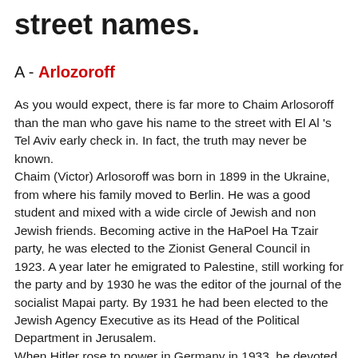street names.
A - Arlozoroff
As you would expect, there is far more to Chaim Arlosoroff than the man who gave his name to the street with El Al 's Tel Aviv early check in. In fact, the truth may never be known.
Chaim (Victor) Arlosoroff was born in 1899 in the Ukraine, from where his family moved to Berlin. He was a good student and mixed with a wide circle of Jewish and non Jewish friends. Becoming active in the HaPoel Ha Tzair party, he was elected to the Zionist General Council in 1923. A year later he emigrated to Palestine, still working for the party and by 1930 he was the editor of the journal of the socialist Mapai party. By 1931 he had been elected to the Jewish Agency Executive as its Head of the Political Department in Jerusalem.
When Hitler rose to power in Germany in 1933, he devoted himself to attempting large scale emigration from there to